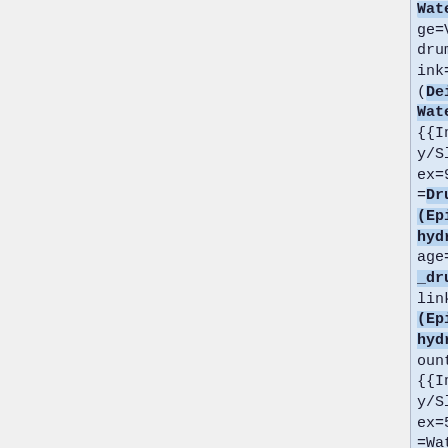Water)|image=Vessel_drum.png|link=Drum (Deionized Water)}} {{Inventory/Slot|index=9|title=Drum (Epichlorohydrin)|image=Vessel_drum.png|link=Drum (Epichlorohydrin)|amount=2}} {{Inventory/Slot|index=5|title=Water